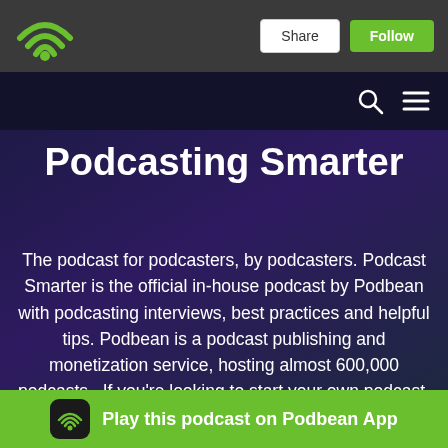[Figure (logo): Podbean wifi-style logo in green on dark gray navigation bar]
Share
Follow
[Figure (other): Search icon (magnifying glass) and hamburger menu icon on dark navigation bar]
Podcasting Smarter
The podcast for podcasters, by podcasters. Podcast Smarter is the official in-house podcast by Podbean with podcasting interviews, best practices and helpful tips. Podbean is a podcast publishing and monetization service, hosting almost 600,000 podcasts.  If you’re looking to start your own podcast, monetize your podcast and can
Play this podcast on Podbean App